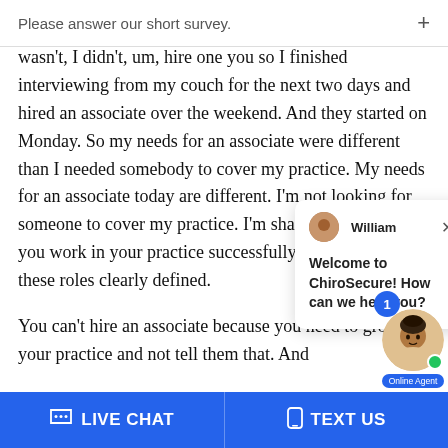Please answer our short survey.
wasn't, I didn't, um, hire one you so I finished interviewing from my couch for the next two days and hired an associate over the weekend. And they started on Monday. So my needs for an associate were different than I needed somebody to cover my practice. My needs for an associate today are different. I'm not looking for someone to cover my practice. I'm [text obscured by chat] sharing this [text obscured] ad, when you [text obscured] work in your practice successfully, you have to have these roles clearly defined.

You can't hire an associate because you need [text obscured] to grow your practice and not tell them that. And [text cut off]
[Figure (screenshot): Chat popup widget with avatar of William and message: Welcome to ChiroSecure! How can we help you? with X close button]
[Figure (photo): Online Agent widget showing a photo of a young Asian man with a blue notification bubble showing 1, a green online dot, and an Online Agent label]